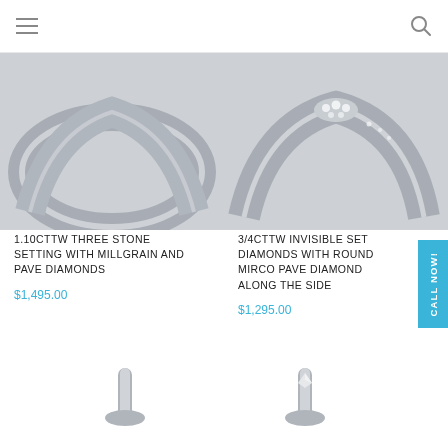Navigation bar with hamburger menu and search icon
[Figure (photo): Silver diamond ring with three stone setting, millgrain and pave diamonds - left product photo]
[Figure (photo): Silver diamond ring with invisible set diamonds and round mirco pave diamond along the side - right product photo]
1.10CTTW THREE STONE SETTING WITH MILLGRAIN AND PAVE DIAMONDS
$1,495.00
3/4CTTW INVISIBLE SET DIAMONDS WITH ROUND MIRCO PAVE DIAMOND ALONG THE SIDE
$1,295.00
[Figure (photo): Partial view of a silver ring or jewelry piece at bottom left]
[Figure (photo): Partial view of a silver ring or jewelry piece at bottom right]